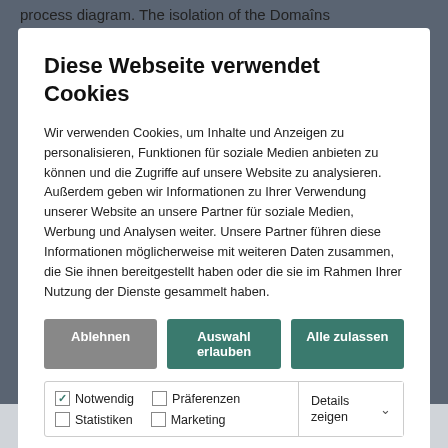process diagram. The isolation of the Domaîns driving Nikifidhos or forming the forth
Diese Webseite verwendet Cookies
Wir verwenden Cookies, um Inhalte und Anzeigen zu personalisieren, Funktionen für soziale Medien anbieten zu können und die Zugriffe auf unsere Website zu analysieren. Außerdem geben wir Informationen zu Ihrer Verwendung unserer Website an unsere Partner für soziale Medien, Werbung und Analysen weiter. Unsere Partner führen diese Informationen möglicherweise mit weiteren Daten zusammen, die Sie ihnen bereitgestellt haben oder die sie im Rahmen Ihrer Nutzung der Dienste gesammelt haben.
Ablehnen | Auswahl erlauben | Alle zulassen
Notwendig | Präferenzen | Statistiken | Marketing | Details zeigen
Sam Eyde was again on the scene – and not only